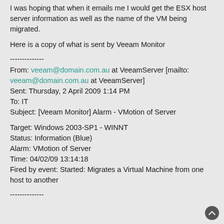I was hoping that when it emails me I would get the ESX host server information as well as the name of the VM being migrated.
Here is a copy of what is sent by Veeam Monitor
--------------
From: veeam@domain.com.au at VeeamServer [mailto: veeam@domain.com.au at VeeamServer]
Sent: Thursday, 2 April 2009 1:14 PM
To: IT
Subject: [Veeam Monitor] Alarm - VMotion of Server
Target: Windows 2003-SP1 - WINNT
Status: Information (Blue)
Alarm: VMotion of Server
Time: 04/02/09 13:14:18
Fired by event: Started: Migrates a Virtual Machine from one host to another
--------------